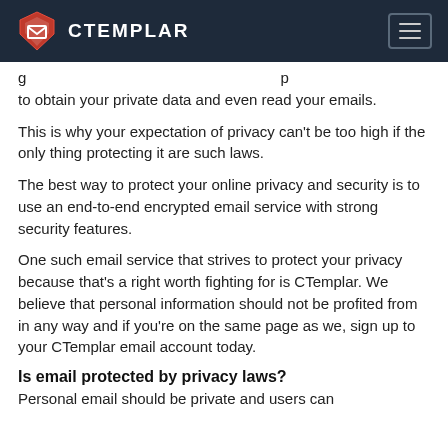CTEMPLAR
g                                                          p
to obtain your private data and even read your emails.
This is why your expectation of privacy can't be too high if the only thing protecting it are such laws.
The best way to protect your online privacy and security is to use an end-to-end encrypted email service with strong security features.
One such email service that strives to protect your privacy because that's a right worth fighting for is CTemplar. We believe that personal information should not be profited from in any way and if you're on the same page as we, sign up to your CTemplar email account today.
Is email protected by privacy laws?
Personal email should be private and users can